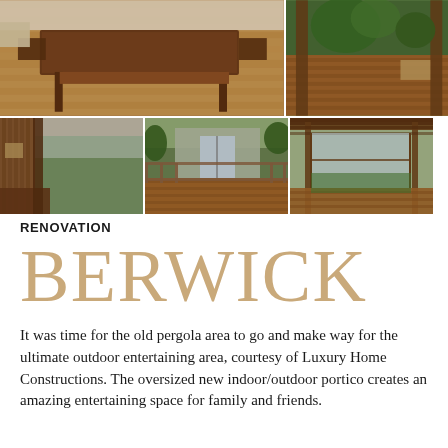[Figure (photo): Top-left: interior shot showing a large wooden dining table and chairs on a timber floor, with natural light from windows]
[Figure (photo): Top-right: outdoor deck area with timber decking, garden plants, and structural timber posts]
[Figure (photo): Bottom-left: interior living space looking out through large windows to a deck and garden]
[Figure (photo): Bottom-middle: outdoor timber deck and pergola viewed from outside, with a sliding glass door in background]
[Figure (photo): Bottom-right: outdoor pergola/covered area with timber beams and glass panels, lush garden behind]
RENOVATION
BERWICK
It was time for the old pergola area to go and make way for the ultimate outdoor entertaining area, courtesy of Luxury Home Constructions. The oversized new indoor/outdoor portico creates an amazing entertaining space for family and friends.